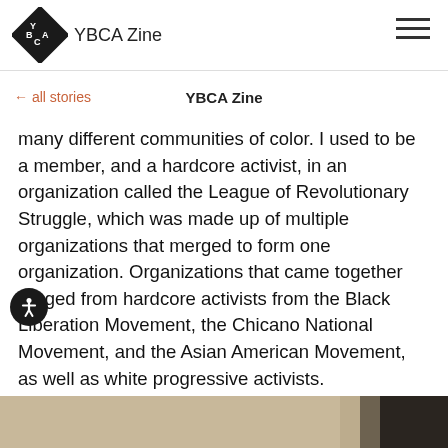YBCA Zine
← all stories   YBCA Zine
many different communities of color. I used to be a member, and a hardcore activist, in an organization called the League of Revolutionary Struggle, which was made up of multiple organizations that merged to form one organization. Organizations that came together ranged from hardcore activists from the Black Liberation Movement, the Chicano National Movement, and the Asian American Movement, as well as white progressive activists.
[Figure (photo): Bottom portion of a photograph showing light beige/tan fabric and a dark silhouette on the right edge]